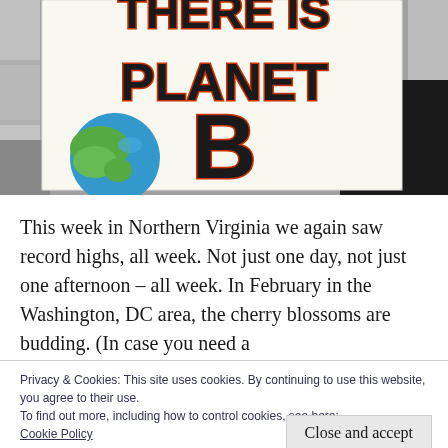[Figure (photo): A protest sign reading 'THERE IS NO PLANET B' in large bold black letters with red outline, held up at a demonstration. The lower left of the sign shows a hand-drawn Earth with blue and green colors. The background shows stone steps or a stone wall.]
This week in Northern Virginia we again saw record highs, all week. Not just one day, not just one afternoon – all week. In February in the Washington, DC area, the cherry blossoms are budding. (In case you need a
Privacy & Cookies: This site uses cookies. By continuing to use this website, you agree to their use.
To find out more, including how to control cookies, see here:
Cookie Policy
Close and accept